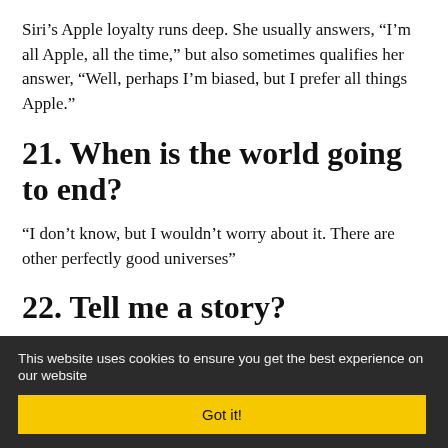Siri’s Apple loyalty runs deep. She usually answers, “I’m all Apple, all the time,” but also sometimes qualifies her answer, “Well, perhaps I’m biased, but I prefer all things Apple.”
21. When is the world going to end?
“I don’t know, but I wouldn’t worry about it. There are other perfectly good universes”
22. Tell me a story?
This website uses cookies to ensure you get the best experience on our website